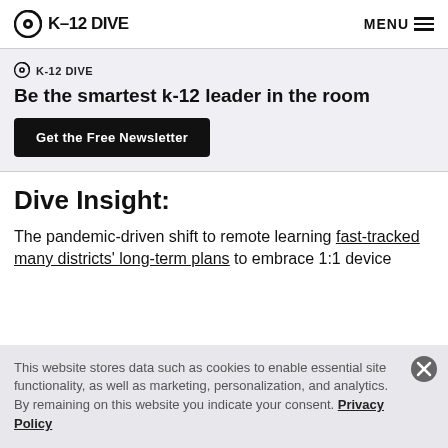K-12 DIVE  MENU
K-12 DIVE
Be the smartest k-12 leader in the room
Get the Free Newsletter
Dive Insight:
The pandemic-driven shift to remote learning fast-tracked many districts' long-term plans to embrace 1:1 device
This website stores data such as cookies to enable essential site functionality, as well as marketing, personalization, and analytics. By remaining on this website you indicate your consent. Privacy Policy